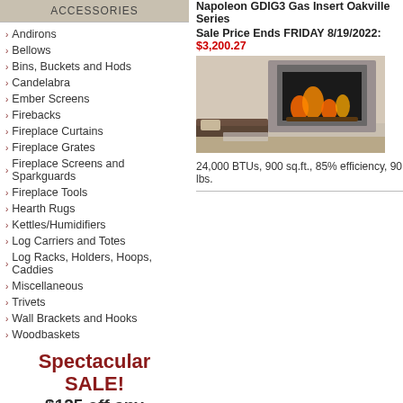ACCESSORIES
Andirons
Bellows
Bins, Buckets and Hods
Candelabra
Ember Screens
Firebacks
Fireplace Curtains
Fireplace Grates
Fireplace Screens and Sparkguards
Fireplace Tools
Hearth Rugs
Kettles/Humidifiers
Log Carriers and Totes
Log Racks, Holders, Hoops, Caddies
Miscellaneous
Trivets
Wall Brackets and Hooks
Woodbaskets
Spectacular SALE! $125 off any Chimney Liner Kit
Napoleon GDIG3 Gas Insert Oakville Series
Sale Price Ends FRIDAY 8/19/2022: $3,200.27
[Figure (photo): Napoleon GDIG3 Gas Insert fireplace unit shown in a living room setting with a dark gray surround]
24,000 BTUs, 900 sq.ft., 85% efficiency, 90 lbs.